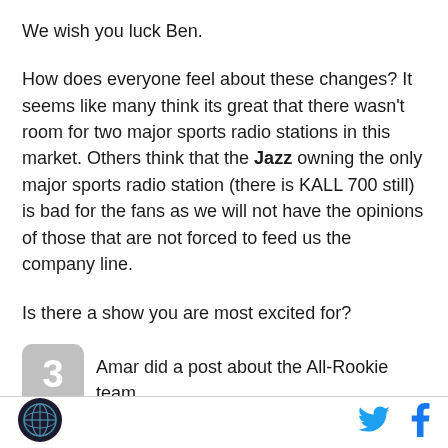We wish you luck Ben.
How does everyone feel about these changes? It seems like many think its great that there wasn't room for two major sports radio stations in this market. Others think that the Jazz owning the only major sports radio station (there is KALL 700 still) is bad for the fans as we will not have the opinions of those that are not forced to feed us the company line.
Is there a show you are most excited for?
3  Amar did a post about the All-Rookie team yesterday. As I was putting the voting results in the
[Figure (logo): Circular logo with globe/network design on dark background]
[Figure (logo): Twitter bird icon in cyan blue]
[Figure (logo): Facebook f icon in blue]